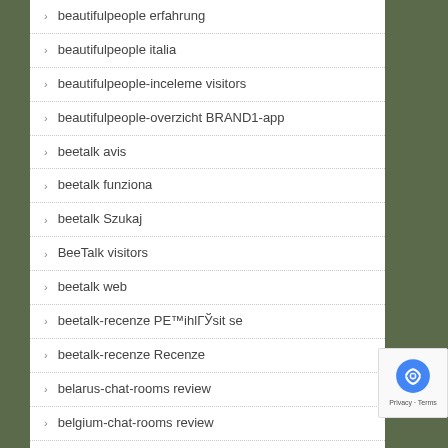beautifulpeople erfahrung
beautifulpeople italia
beautifulpeople-inceleme visitors
beautifulpeople-overzicht BRAND1-app
beetalk avis
beetalk funziona
beetalk Szukaj
BeeTalk visitors
beetalk web
beetalk-recenze PE™ihlГЎsit se
beetalk-recenze Recenze
belarus-chat-rooms review
belgium-chat-rooms review
Belleville+Canada reviews
bellevue escort service